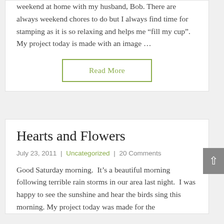weekend at home with my husband, Bob.  There are always weekend chores to do but I always find time for stamping as it is so relaxing and helps me “fill my cup”.  My project today is made with an image …
Read More
Hearts and Flowers
July 23, 2011  |  Uncategorized  |  20 Comments
Good Saturday morning.  It’s a beautiful morning following terrible rain storms in our area last night.  I was happy to see the sunshine and hear the birds sing this morning. My project today was made for the